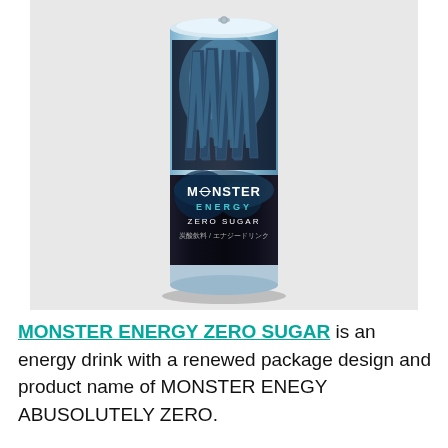[Figure (photo): A Monster Energy Zero Sugar can with blue and black design featuring the iconic Monster claw logo. The can label reads MONSTER ENERGY ZERO SUGAR with Japanese text 炭酸飲料 / エナジードリンク. The can is photographed against a light grey background.]
MONSTER ENERGY ZERO SUGAR is an energy drink with a renewed package design and product name of MONSTER ENEGY ABUSOLUTELY ZERO.